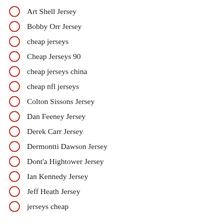Art Shell Jersey
Bobby Orr Jersey
cheap jerseys
Cheap Jerseys 90
cheap jerseys china
cheap nfl jerseys
Colton Sissons Jersey
Dan Feeney Jersey
Derek Carr Jersey
Dermontti Dawson Jersey
Dont'a Hightower Jersey
Ian Kennedy Jersey
Jeff Heath Jersey
jerseys cheap